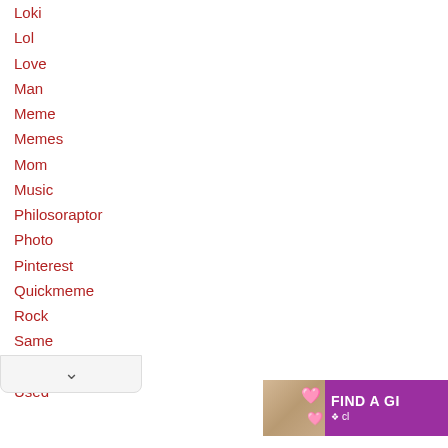Loki
Lol
Love
Man
Meme
Memes
Mom
Music
Philosoraptor
Photo
Pinterest
Quickmeme
Rock
Same
Sick
Used
[Figure (screenshot): Advertisement banner showing a woman with pink hearts and text FIND A GI... on purple background]